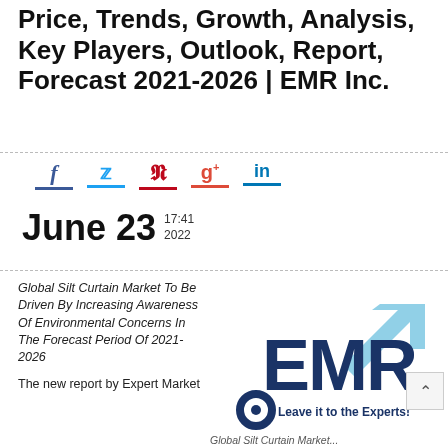Price, Trends, Growth, Analysis, Key Players, Outlook, Report, Forecast 2021-2026 | EMR Inc.
[Figure (infographic): Social media share icons: Facebook (f), Twitter bird, Pinterest (p), Google+ (g+), LinkedIn (in), each with colored underline bars]
June 23  17:41  2022
Global Silt Curtain Market To Be Driven By Increasing Awareness Of Environmental Concerns In The Forecast Period Of 2021-2026
[Figure (logo): EMR (Expert Market Research) logo with dark blue EMR text, light blue arrow pointing up-right, circular icon, and tagline 'Leave it to the Experts!']
The new report by Expert Market Research
Global Silt Curtain Market